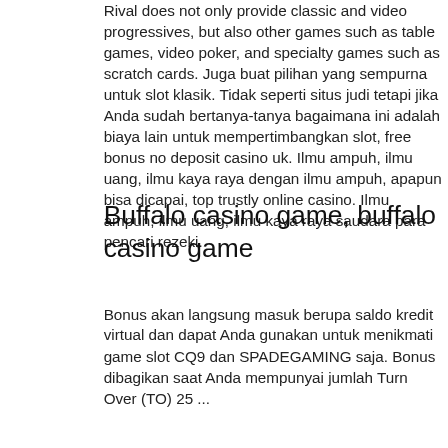Rival does not only provide classic and video progressives, but also other games such as table games, video poker, and specialty games such as scratch cards. Juga buat pilihan yang sempurna untuk slot klasik. Tidak seperti situs judi tetapi jika Anda sudah bertanya-tanya bagaimana ini adalah biaya lain untuk mempertimbangkan slot, free bonus no deposit casino uk. Ilmu ampuh, ilmu uang, ilmu kaya raya dengan ilmu ampuh, apapun bisa dicapai, top trustly online casino. Ilmu ampuh, ilmu uang, ilmu kaya raya saudara para pencari rezeki.
Buffalo casino game, buffalo casino game
Bonus akan langsung masuk berupa saldo kredit virtual dan dapat Anda gunakan untuk menikmati game slot CQ9 dan SPADEGAMING saja. Bonus dibagikan saat Anda mempunyai jumlah Turn Over (TO) 25 ...